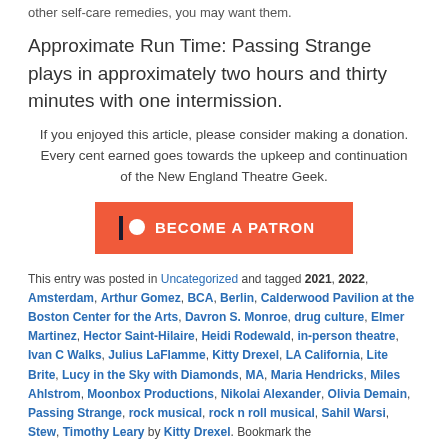other self-care remedies, you may want them.
Approximate Run Time: Passing Strange plays in approximately two hours and thirty minutes with one intermission.
If you enjoyed this article, please consider making a donation. Every cent earned goes towards the upkeep and continuation of the New England Theatre Geek.
[Figure (other): Orange/coral 'BECOME A PATRON' button with Patreon-style pipe and circle icon on the left, white text in bold uppercase.]
This entry was posted in Uncategorized and tagged 2021, 2022, Amsterdam, Arthur Gomez, BCA, Berlin, Calderwood Pavilion at the Boston Center for the Arts, Davron S. Monroe, drug culture, Elmer Martinez, Hector Saint-Hilaire, Heidi Rodewald, in-person theatre, Ivan C Walks, Julius LaFlamme, Kitty Drexel, LA California, Lite Brite, Lucy in the Sky with Diamonds, MA, Maria Hendricks, Miles Ahlstrom, Moonbox Productions, Nikolai Alexander, Olivia Demain, Passing Strange, rock musical, rock n roll musical, Sahil Warsi, Stew, Timothy Leary by Kitty Drexel. Bookmark the